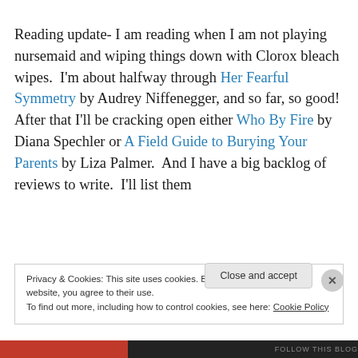Reading update- I am reading when I am not playing nursemaid and wiping things down with Clorox bleach wipes.  I'm about halfway through Her Fearful Symmetry by Audrey Niffenegger, and so far, so good!  After that I'll be cracking open either Who By Fire by Diana Spechler or A Field Guide to Burying Your Parents by Liza Palmer.  And I have a big backlog of reviews to write.  I'll list them
Privacy & Cookies: This site uses cookies. By continuing to use this website, you agree to their use. To find out more, including how to control cookies, see here: Cookie Policy
Close and accept